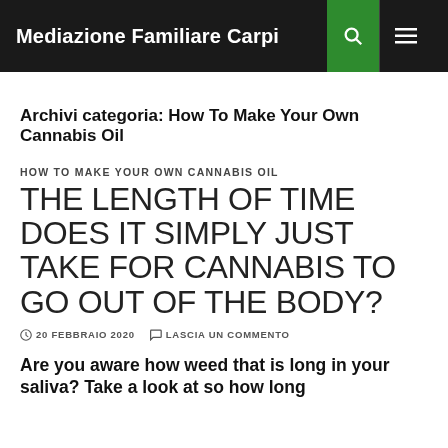Mediazione Familiare Carpi
Archivi categoria: How To Make Your Own Cannabis Oil
HOW TO MAKE YOUR OWN CANNABIS OIL
THE LENGTH OF TIME DOES IT SIMPLY JUST TAKE FOR CANNABIS TO GO OUT OF THE BODY?
20 FEBBRAIO 2020   LASCIA UN COMMENTO
Are you aware how weed that is long in your saliva? Take a look at so how long